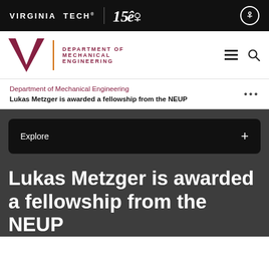VIRGINIA TECH® | 150 [anniversary logo]
[Figure (logo): Virginia Tech logo (VT monogram) with Department of Mechanical Engineering wordmark, hamburger menu and search icons]
Department of Mechanical Engineering
Lukas Metzger is awarded a fellowship from the NEUP
Explore +
Lukas Metzger is awarded a fellowship from the NEUP
June 10, 2022